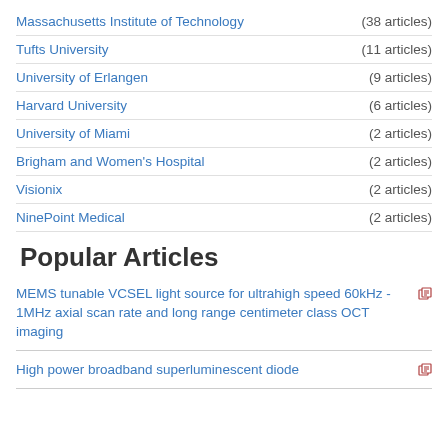Massachusetts Institute of Technology (38 articles)
Tufts University (11 articles)
University of Erlangen (9 articles)
Harvard University (6 articles)
University of Miami (2 articles)
Brigham and Women's Hospital (2 articles)
Visionix (2 articles)
NinePoint Medical (2 articles)
Popular Articles
MEMS tunable VCSEL light source for ultrahigh speed 60kHz - 1MHz axial scan rate and long range centimeter class OCT imaging
High power broadband superluminescent diode